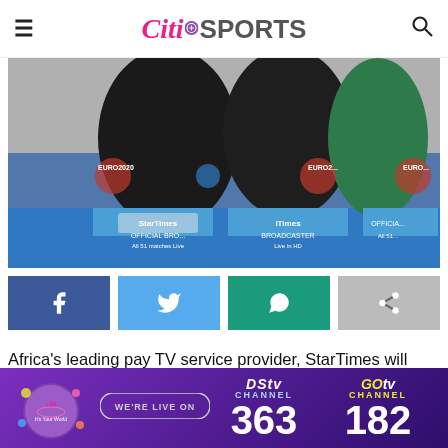Citi SPORTS
[Figure (photo): Two people shaking hands in front of UEFA EURO 2020 banners showing StarTimes as official broadcaster]
[Figure (infographic): Social share buttons: Facebook, Twitter, WhatsApp, Share]
Africa's leading pay TV service provider, StarTimes will broadcast all 51 games of the UEFA EURO 2020 tournament across its five sports channels live and in HD
[Figure (infographic): Citi TV banner: We're live on DStv Channel 363 and GOtv Channel 182]